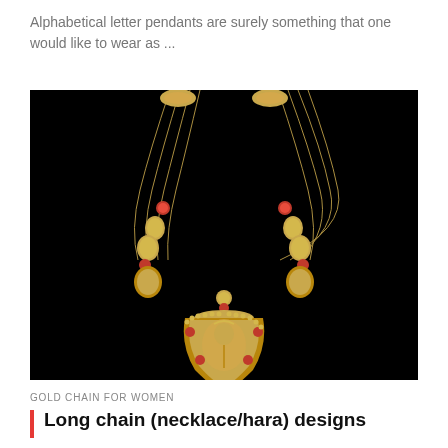Alphabetical letter pendants are surely something that one would like to wear as ...
[Figure (photo): A gold necklace (hara) with multiple strands, gold beads, ruby accents, and a large ornate Lakshmi pendant, displayed against a black background.]
GOLD CHAIN FOR WOMEN
Long chain (necklace/hara) designs
A tion al d esi gn s that h ave with m otif s ...